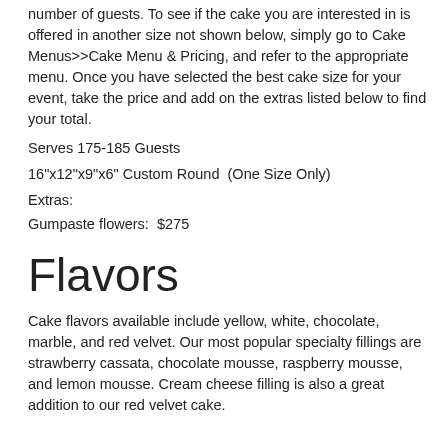number of guests. To see if the cake you are interested in is offered in another size not shown below, simply go to Cake Menus>>Cake Menu & Pricing, and refer to the appropriate menu. Once you have selected the best cake size for your event, take the price and add on the extras listed below to find your total.
Serves 175-185 Guests
16"x12"x9"x6" Custom Round  (One Size Only)
Extras:
Gumpaste flowers:  $275
Flavors
Cake flavors available include yellow, white, chocolate, marble, and red velvet. Our most popular specialty fillings are strawberry cassata, chocolate mousse, raspberry mousse, and lemon mousse. Cream cheese filling is also a great addition to our red velvet cake.